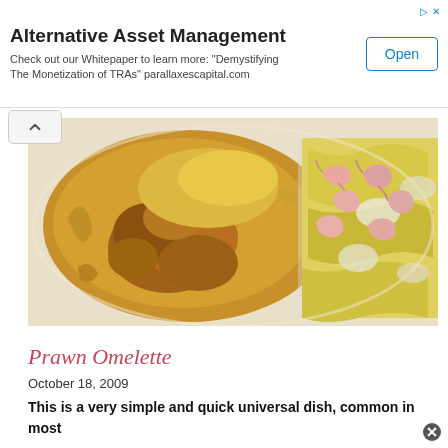[Figure (other): Advertisement banner: Alternative Asset Management. Check out our Whitepaper to learn more: 'Demystifying The Monetization of TRAs' parallaxescapital.com, with an Open button]
[Figure (photo): Photo of a prawn omelette on a white plate, showing golden-brown folded egg on the left half and scrambled egg with shrimp/prawns on the right half]
Prawn Omelette
October 18, 2009
This is a very simple and quick universal dish, common in most